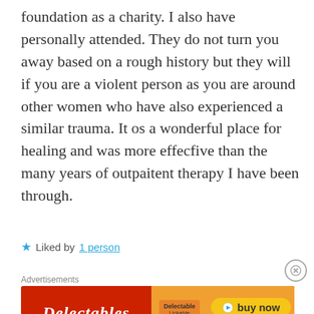foundation as a charity. I also have personally attended. They do not turn you away based on a rough history but they will if you are a violent person as you are around other women who have also experienced a similar trauma. It os a wonderful place for healing and was more effecfive than the many years of outpaitent therapy I have been through.
★ Liked by 1 person
[Figure (other): Close/dismiss button (circle with X)]
Advertisements
[Figure (other): Delectables cat food advertisement banner with red background, Delectables logo, Lickable Treat product image, and buy now button with available at Chewy text]